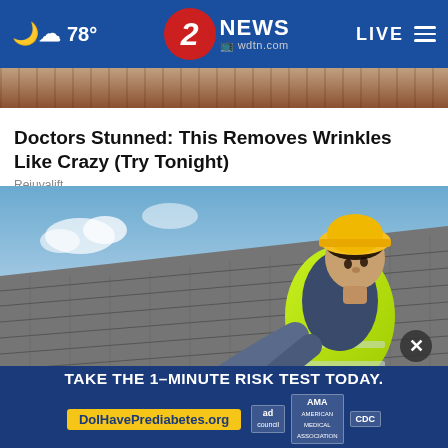78° | 2 NEWS wdtn.com | LIVE
[Figure (photo): Partial top strip of a close-up photo (skin texture, wrinkled skin)]
Doctors Stunned: This Removes Wrinkles Like Crazy (Try Tonight)
Rejuvalift
[Figure (photo): Construction worker wearing a yellow hard hat and hi-vis vest working on a grey slate roof, reaching forward with gloved hands]
TAKE THE 1-MINUTE RISK TEST TODAY. DoIHavePrediabetes.org  ad  AMA  CDC